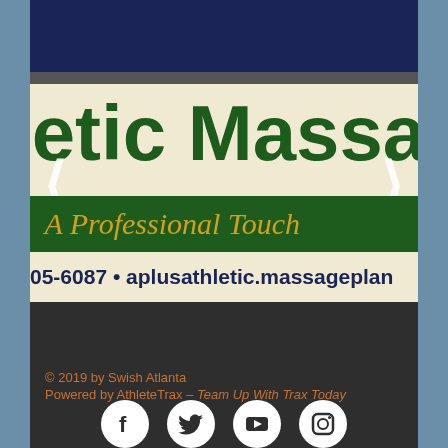letic Massa
A Professional Touch
05-6087 • aplusathletic.massageplan
© 2019 by Swish Atlanta
Powered by AthleteTrax – Team Up With Trax Today
[Figure (logo): Social media icons: Facebook, Twitter, YouTube, Instagram]